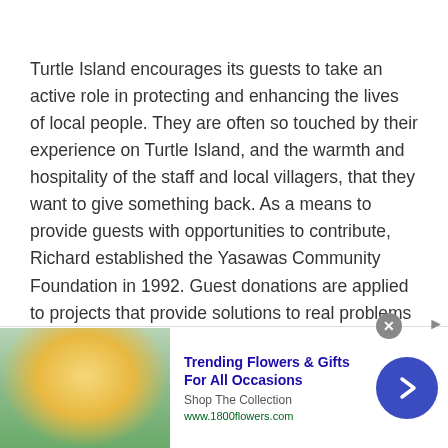Turtle Island encourages its guests to take an active role in protecting and enhancing the lives of local people. They are often so touched by their experience on Turtle Island, and the warmth and hospitality of the staff and local villagers, that they want to give something back. As a means to provide guests with opportunities to contribute, Richard established the Yasawas Community Foundation in 1992. Guest donations are applied to projects that provide solutions to real problems facing local residents including healthcare, education, and employment. Both the resort and foundation successfully address the three main concerns of sustainability, community, environment
[Figure (other): Web advertisement banner for 1800flowers.com showing a woman holding flowers, with text 'Trending Flowers & Gifts For All Occasions', 'Shop The Collection', 'www.1800flowers.com', a close button (X), a blue circular arrow navigation button, and an AdChoices icon.]